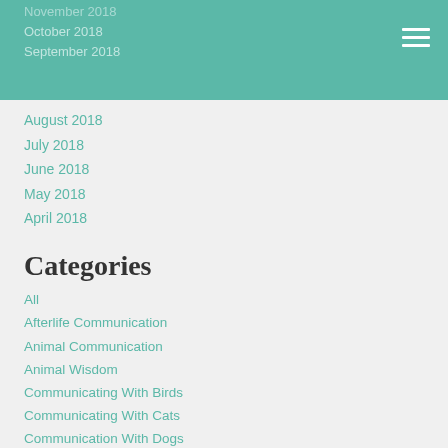November 2018
October 2018
September 2018
August 2018
July 2018
June 2018
May 2018
April 2018
Categories
All
Afterlife Communication
Animal Communication
Animal Wisdom
Communicating With Birds
Communicating With Cats
Communication With Dogs
Communication With Horses
Communication With Pet Rats
Communication With Reptiles
Ways To Help Animals